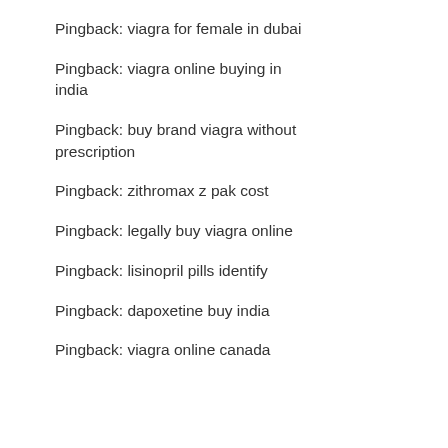Pingback: viagra for female in dubai
Pingback: viagra online buying in india
Pingback: buy brand viagra without prescription
Pingback: zithromax z pak cost
Pingback: legally buy viagra online
Pingback: lisinopril pills identify
Pingback: dapoxetine buy india
Pingback: viagra online canada